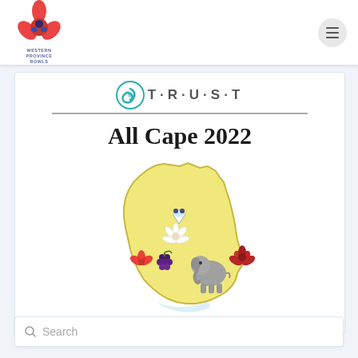[Figure (logo): Western Province Bowls logo — red flower/orchid with blue bowl/jack icon, text 'WESTERN PROVINCE BOWLS' below in blue]
[Figure (logo): TRUST organization logo — teal circular swirl icon next to spaced letters T·R·U·S·T in gray, with horizontal underline]
All Cape 2022
[Figure (illustration): Yellow map outline of the Western Cape / Cape provinces region of South Africa, decorated with symbolic icons: a diamond with bowls/jack, a protea flower (white), a red flower, grapes, an elephant, and a red succulent plant]
Search